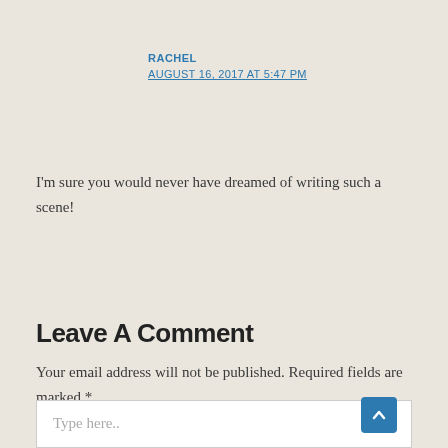RACHEL
AUGUST 16, 2017 AT 5:47 PM
I'm sure you would never have dreamed of writing such a scene!
Leave A Comment
Your email address will not be published. Required fields are marked *
Type here..